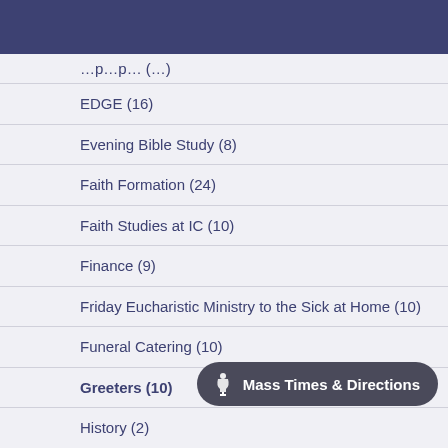EDGE (16)
Evening Bible Study (8)
Faith Formation (24)
Faith Studies at IC (10)
Finance (9)
Friday Eucharistic Ministry to the Sick at Home (10)
Funeral Catering (10)
Greeters (10)
History (2)
Home (40)
IC Charismatic Pray...
Knights Of Columbus (2)
Mass Times & Directions